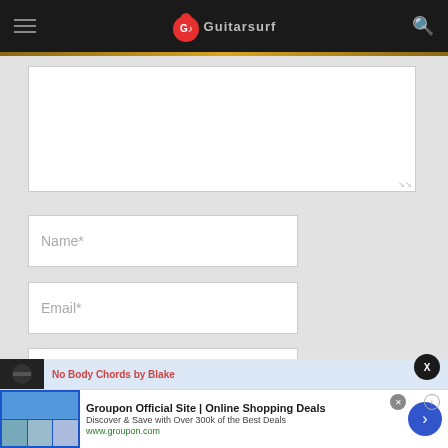GuitarSurf header with hamburger menu, logo, and search icon
[Figure (screenshot): Textarea input field for comment]
Name*
Email*
Website
[Figure (screenshot): No Body Chords by Blake promotional banner]
[Figure (screenshot): Groupon Official Site | Online Shopping Deals advertisement banner]